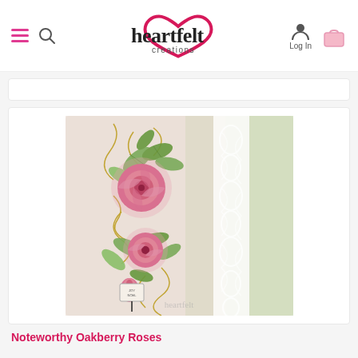[Figure (screenshot): Heartfelt Creations website navigation bar with hamburger menu, search icon, logo, Log In button, and shopping bag icon]
[Figure (photo): Handmade greeting card with pink roses, green leaves, gold swirl embellishments, and white lace die-cut border on a green and pink background with a small tag]
Noteworthy Oakberry Roses